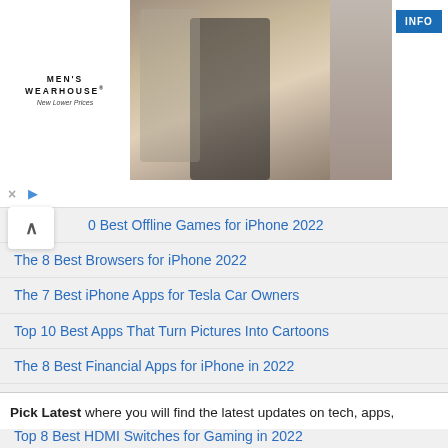[Figure (photo): Men's Wearhouse advertisement banner showing a couple in formal wear, a man in a suit alone, and an INFO button]
0 Best Offline Games for iPhone 2022
The 8 Best Browsers for iPhone 2022
The 7 Best iPhone Apps for Tesla Car Owners
Top 10 Best Apps That Turn Pictures Into Cartoons
The 8 Best Financial Apps for iPhone in 2022
Top 10 Best Gaming Setups of 2022
Top 8 Best HDMI Switches for Gaming in 2022
Why Are Graphics Cards So Expensive? (10 Crucial Reasons)
Pick Latest where you will find the latest updates on tech, apps,